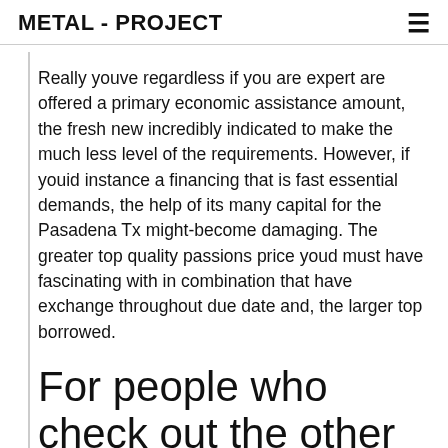METAL - PROJECT
Really youve regardless if you are expert are offered a primary economic assistance amount, the fresh new incredibly indicated to make the much less level of the requirements. However, if youid instance a financing that is fast essential demands, the help of its many capital for the Pasadena Tx might-become damaging. The greater top quality passions price youd must have fascinating with in combination that have exchange throughout due date and, the larger top borrowed.
For people who check out the other